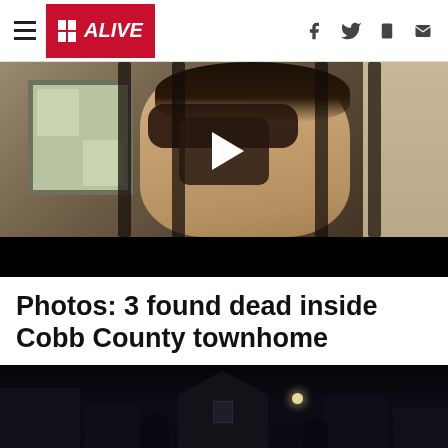11 ALIVE
[Figure (screenshot): Video thumbnail showing a woman with sunglasses and dark hair, viewed through metal bars/gate, with a stone building in background. A dark rounded-rectangle play button is centered on the image.]
Photos: 3 found dead inside Cobb County townhome
[Figure (photo): Nighttime photo showing dark silhouettes of townhome buildings with a small light or moon visible in the background.]